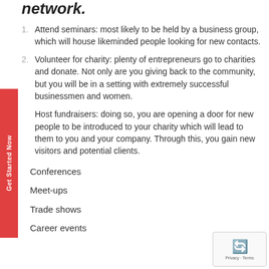network.
1. Attend seminars: most likely to be held by a business group, which will house likeminded people looking for new contacts.
2. Volunteer for charity: plenty of entrepreneurs go to charities and donate. Not only are you giving back to the community, but you will be in a setting with extremely successful businessmen and women.
Host fundraisers: doing so, you are opening a door for new people to be introduced to your charity which will lead to them to you and your company. Through this, you gain new visitors and potential clients.
Conferences
Meet-ups
Trade shows
Career events